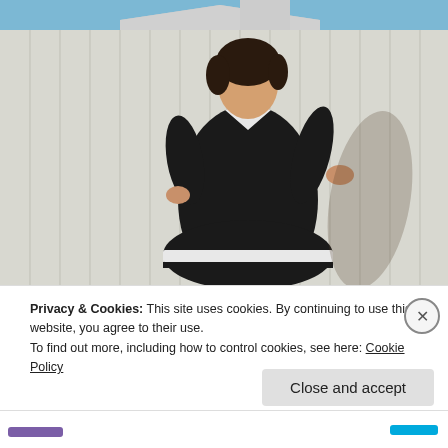[Figure (photo): A woman with short dark hair wearing a black dress with white trim at the collar and hem, posing outdoors in front of a white wooden fence with a small white shed/outbuilding visible in the background under a blue sky.]
Privacy & Cookies: This site uses cookies. By continuing to use this website, you agree to their use.
To find out more, including how to control cookies, see here: Cookie Policy
Close and accept